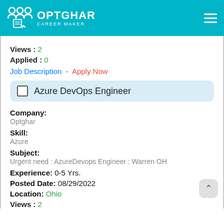OPTGHAR CAREER MAKER
Views : 2
Applied : 0
Job Description - Apply Now
Azure DevOps Engineer
Company:
Optghar
Skill:
Azure
Subject:
Urgent need : AzureDevops Engineer : Warren OH
Experience: 0-5 Yrs.
Posted Date: 08/29/2022
Location: Ohio
Views : 2